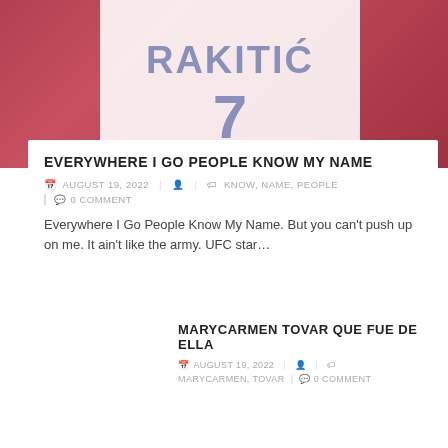[Figure (photo): Photo of a white soccer/football jersey showing the name RAKITIĆ and number 7 in blue-grey letters, on a red background]
EVERYWHERE I GO PEOPLE KNOW MY NAME
AUGUST 19, 2022  |  KNOW, NAME, PEOPLE  |  0 COMMENT
Everywhere I Go People Know My Name. But you can't push up on me. It ain't like the army. UFC star…
MARYCARMEN TOVAR QUE FUE DE ELLA
AUGUST 19, 2022  |  MARYCARMEN, TOVAR  |  0 COMMENT